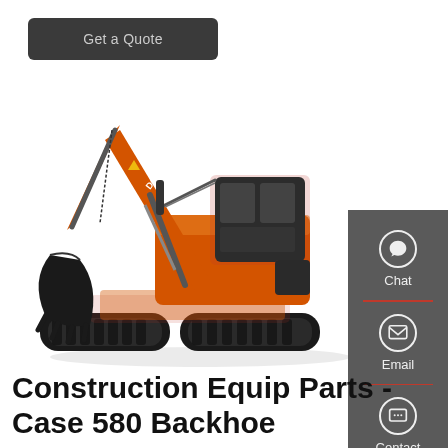Get a Quote
[Figure (photo): Doosan orange crawler excavator with extended arm and bucket, on white background]
Chat
Email
Contact
Construction Equip Parts - Case 580 Backhoe